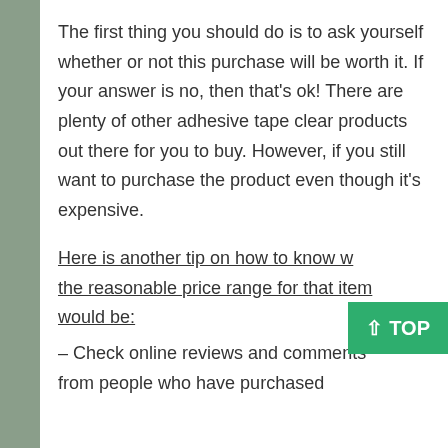The first thing you should do is to ask yourself whether or not this purchase will be worth it. If your answer is no, then that's ok! There are plenty of other adhesive tape clear products out there for you to buy. However, if you still want to purchase the product even though it's expensive.
Here is another tip on how to know what the reasonable price range for that item would be:
– Check online reviews and comments from people who have purchased